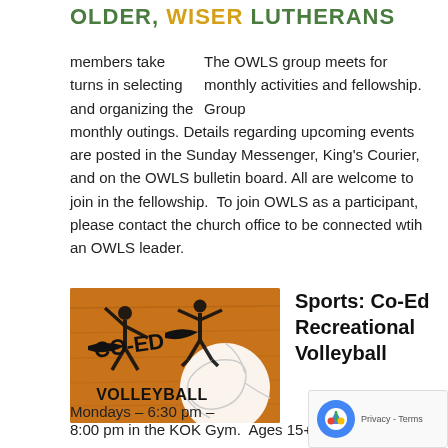OLDER, WISER LUTHERANS
The OWLS group meets for monthly activities and fellowship. Group members take turns in selecting and organizing the monthly outings. Details regarding upcoming events are posted in the Sunday Messenger, King's Courier, and on the OWLS bulletin board. All are welcome to join in the fellowship.  To join OWLS as a participant, please contact the church office to be connected wtih an OWLS leader.
[Figure (photo): Photo/logo for Co-Ed Volleyball showing silhouettes of volleyball players with text 'CO-ED VOLLEYBALL' on a wood-toned background with a volleyball]
Sports: Co-Ed Recreational Volleyball
Mondays – 6:30 pm – 8:00 pm in the KOK Gym.  Ages 15+ welcome.  Click h... to contact our Coordinator, David Billman.